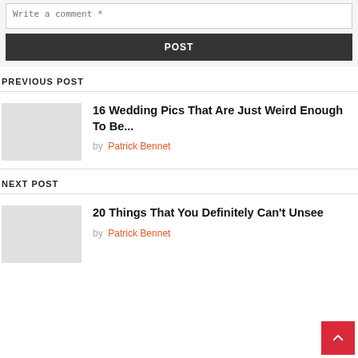Write a comment *
POST
PREVIOUS POST
16 Wedding Pics That Are Just Weird Enough To Be...
by Patrick Bennet
NEXT POST
20 Things That You Definitely Can't Unsee
by Patrick Bennet